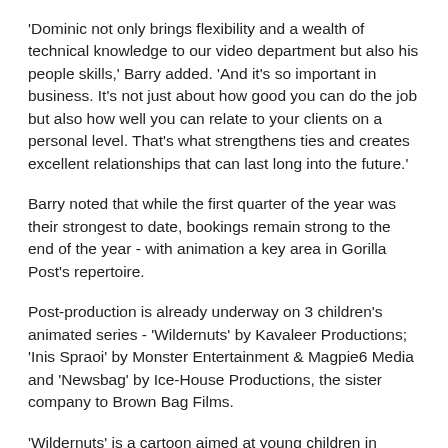‘Dominic not only brings flexibility and a wealth of technical knowledge to our video department but also his people skills,’ Barry added. ‘And it’s so important in business. It’s not just about how good you can do the job but also how well you can relate to your clients on a personal level. That’s what strengthens ties and creates excellent relationships that can last long into the future.’
Barry noted that while the first quarter of the year was their strongest to date, bookings remain strong to the end of the year - with animation a key area in Gorilla Post’s repertoire.
Post-production is already underway on 3 children’s animated series - ‘Wildernuts’ by Kavaleer Productions; ‘Inis Spraoi’ by Monster Entertainment & Magpie6 Media and ‘Newsbag’ by Ice-House Productions, the sister company to Brown Bag Films.
‘Wildernuts’ is a cartoon aimed at young children in which five heroes explore a colourful island on their flying ship, the Cloud Hopper, and encounter a variety of ecosystems. Gorilla Post has been commissioned to complete post-production on 26 seven minute episodes.